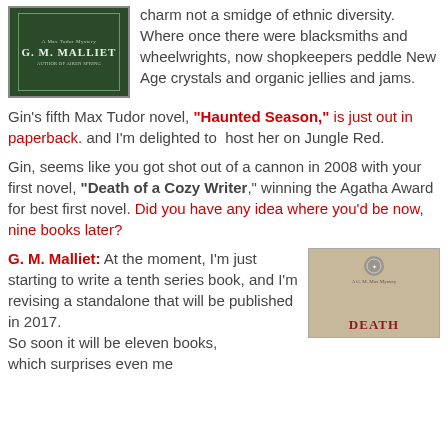[Figure (photo): Book cover for G. M. Malliet, dark green with decorative border]
charm not a smidge of ethnic diversity. Where once there were blacksmiths and wheelwrights, now shopkeepers peddle New Age crystals and organic jellies and jams.
Gin's fifth Max Tudor novel, "Haunted Season," is just out in paperback. and I'm delighted to host her on Jungle Red.
Gin, seems like you got shot out of a cannon in 2008 with your first novel, "Death of a Cozy Writer," winning the Agatha Award for best first novel. Did you have any idea where you'd be now, nine books later?
G. M. Malliet: At the moment, I'm just starting to write a tenth series book, and I'm revising a standalone that will be published in 2017. So soon it will be eleven books, which surprises even me
[Figure (photo): Book cover for Death of a Cozy Writer by G. M. Malliet, tan/cream colored with red title text]